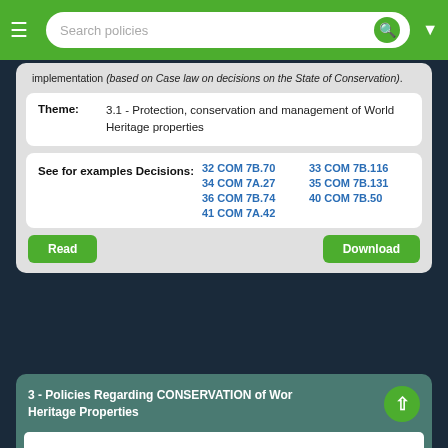Search policies
implementation (based on Case law on decisions on the State of Conservation).
| Theme: | Value |
| --- | --- |
| Theme: | 3.1 - Protection, conservation and management of World Heritage properties |
| See for examples Decisions: | Links |
| --- | --- |
| See for examples Decisions: | 32 COM 7B.70  33 COM 7B.116  34 COM 7A.27  35 COM 7B.131  36 COM 7B.74  40 COM 7B.50  41 COM 7A.42 |
Read   Download
3 - Policies Regarding CONSERVATION of World Heritage Properties